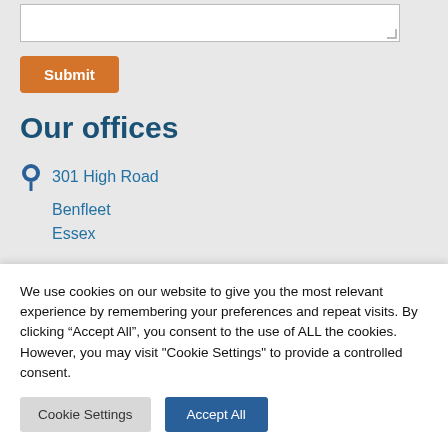[textarea input field]
Submit
Our offices
301 High Road
Benfleet
Essex
We use cookies on our website to give you the most relevant experience by remembering your preferences and repeat visits. By clicking “Accept All”, you consent to the use of ALL the cookies. However, you may visit "Cookie Settings" to provide a controlled consent.
Cookie Settings
Accept All